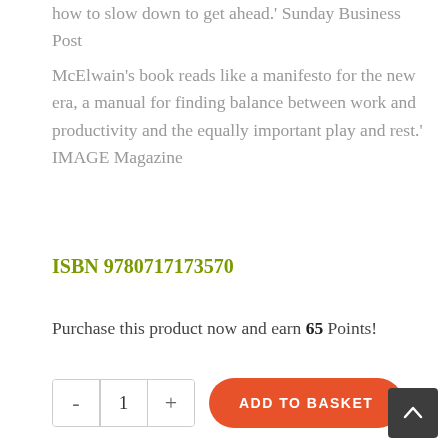how to slow down to get ahead.' Sunday Business Post
McElwain's book reads like a manifesto for the new era, a manual for finding balance between work and productivity and the equally important play and rest.' IMAGE Magazine
ISBN 9780717173570
Purchase this product now and earn 65 Points!